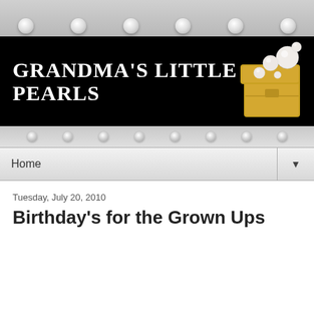[Figure (illustration): Top decorative strip with light bulbs on gray gradient background]
Grandma's Little Pearls
[Figure (photo): Decorative jewelry box with pearls on black background banner]
[Figure (illustration): Bottom gray strip with small light bulbs]
Home
Tuesday, July 20, 2010
Birthday's for the Grown Ups